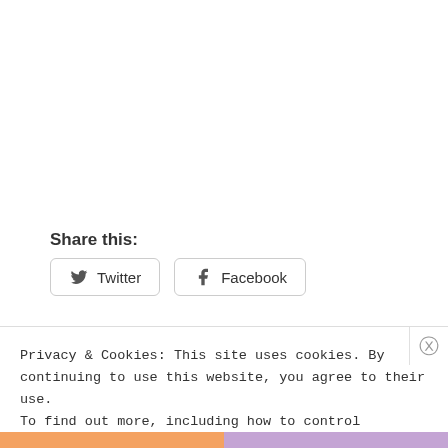Share this:
[Figure (other): Twitter and Facebook share buttons]
Privacy & Cookies: This site uses cookies. By continuing to use this website, you agree to their use.
To find out more, including how to control cookies, see here:
Cookie Policy
Close and accept